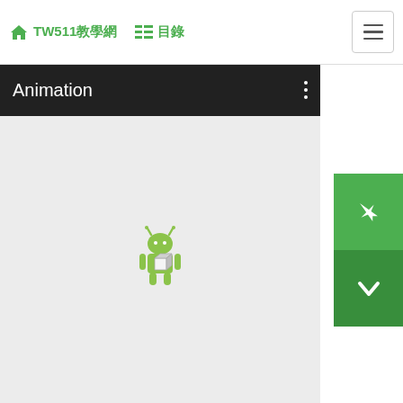TW511教學網  目錄
[Figure (screenshot): Android app screen showing 'Animation' action bar with a dark top bar, light gray content area, and a small Android robot figure with a 3D cube overlay icon in the center of the screen.]
[Figure (illustration): Green navigation buttons on right sidebar: up arrow (airplane icon) and down arrow (checkmark/chevron icon)]